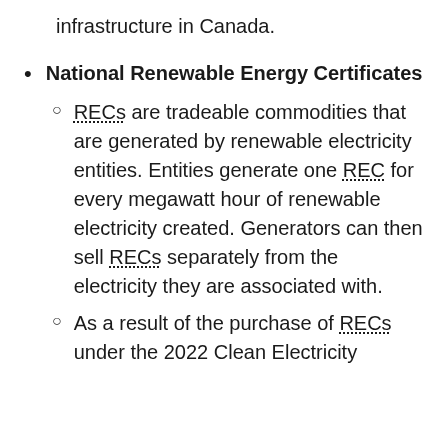infrastructure in Canada.
National Renewable Energy Certificates
RECs are tradeable commodities that are generated by renewable electricity entities. Entities generate one REC for every megawatt hour of renewable electricity created. Generators can then sell RECs separately from the electricity they are associated with.
As a result of the purchase of RECs under the 2022 Clean Electricity